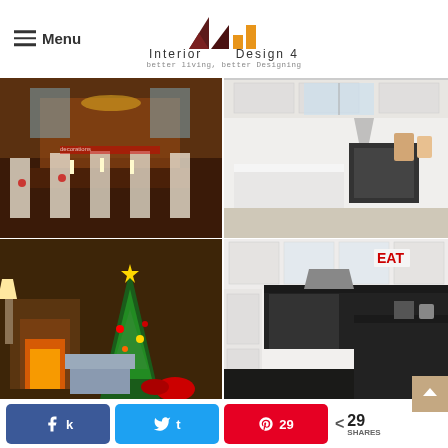Menu | Interior Design 4 | better living, better Designing
[Figure (photo): Christmas decorated dining room with chandelier and festive table setting]
[Figure (photo): White kitchen with marble island and stainless appliances]
[Figure (photo): Christmas living room with fireplace and decorated Christmas tree]
[Figure (photo): White kitchen with dark countertops and EAT sign]
Dress your Family Room in a White Merry Christmas Style
White kitchen design to brighten up your whole
29 SHARES